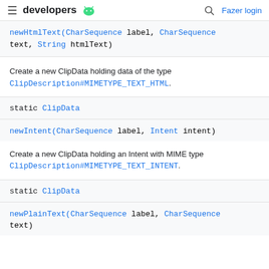≡ developers 🤖  🔍 Fazer login
newHtmlText(CharSequence label, CharSequence text, String htmlText)
Create a new ClipData holding data of the type ClipDescription#MIMETYPE_TEXT_HTML.
static ClipData
newIntent(CharSequence label, Intent intent)
Create a new ClipData holding an Intent with MIME type ClipDescription#MIMETYPE_TEXT_INTENT.
static ClipData
newPlainText(CharSequence label, CharSequence text)